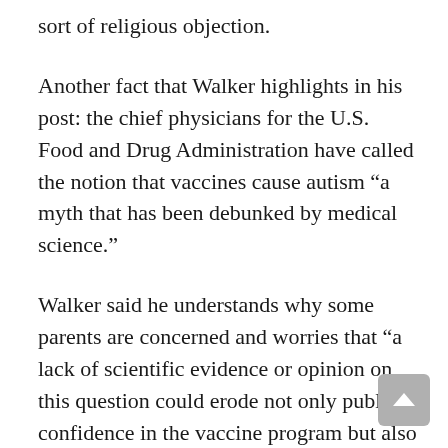sort of religious objection.
Another fact that Walker highlights in his post: the chief physicians for the U.S. Food and Drug Administration have called the notion that vaccines cause autism “a myth that has been debunked by medical science.”
Walker said he understands why some parents are concerned and worries that “a lack of scientific evidence or opinion on this question could erode not only public confidence in the vaccine program but also doubt about the usefulness of science.”